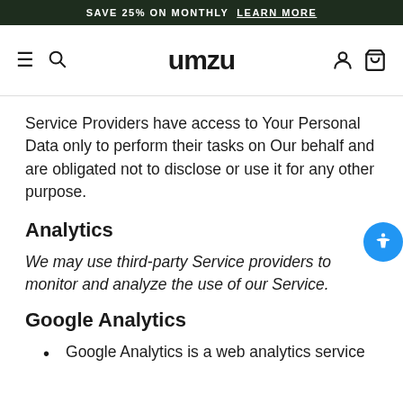SAVE 25% ON MONTHLY  LEARN MORE
umzu
Service Providers have access to Your Personal Data only to perform their tasks on Our behalf and are obligated not to disclose or use it for any other purpose.
Analytics
We may use third-party Service providers to monitor and analyze the use of our Service.
Google Analytics
Google Analytics is a web analytics service